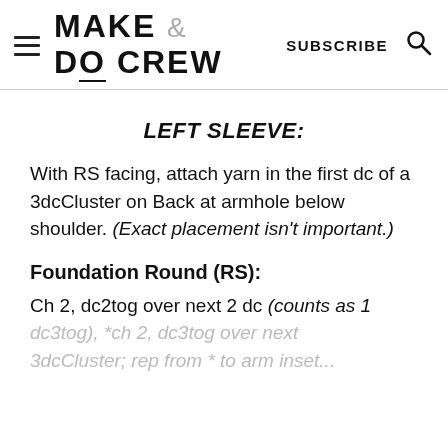MAKE & DO CREW | SUBSCRIBE
LEFT SLEEVE:
With RS facing, attach yarn in the first dc of a 3dcCluster on Back at armhole below shoulder. (Exact placement isn't important.)
Foundation Round (RS):
Ch 2, dc2tog over next 2 dc (counts as 1 dc3tog), *ch 2, dc3tog over next 3dcCluster; rep from * to arm inset...